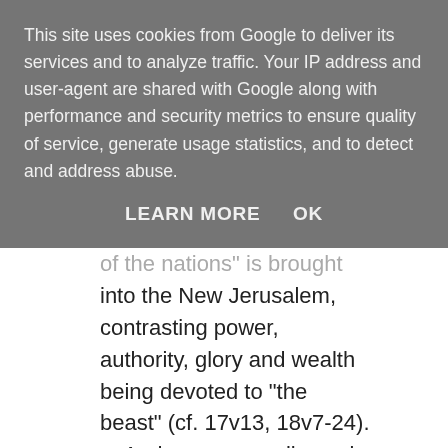This site uses cookies from Google to deliver its services and to analyze traffic. Your IP address and user-agent are shared with Google along with performance and security metrics to ensure quality of service, generate usage statistics, and to detect and address abuse.
LEARN MORE    OK
of the nations" is brought into the New Jerusalem, contrasting power, authority, glory and wealth being devoted to "the beast" (cf. 17v13, 18v7-24).
    And so any excellence in us, and degree to which we are esteemed or